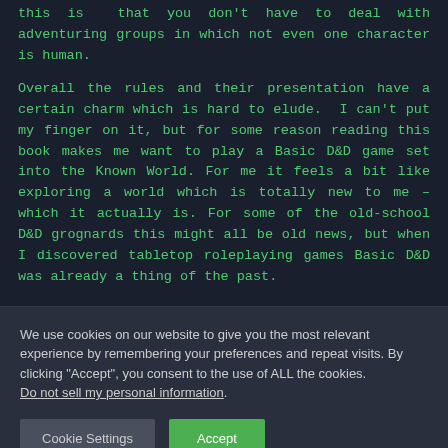this is that you don't have to deal with adventuring groups in which not even one character is human.
Overall the rules and their presentation have a certain charm which is hard to elude. I can't put my finger on it, but for some reason reading this book makes me want to play a Basic D&D game set into the Known World. For me it feels a bit like exploring a world which is totally new to me – which it actually is. For some of the old-school D&D grognards this might all be old news, but when I discovered tabletop roleplaying games Basic D&D was already a thing of the past.
We use cookies on our website to give you the most relevant experience by remembering your preferences and repeat visits. By clicking "Accept", you consent to the use of ALL the cookies.
Do not sell my personal information.